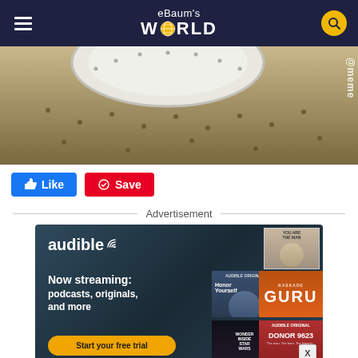eBaum's World
[Figure (photo): Close-up photo of a toilet bowl from below, showing the underside of the rim with small holes, with watermark '@meme' on the right side]
Like  Save
Advertisement
[Figure (other): Audible advertisement: 'Now streaming: podcasts, originals, and more' with book covers including Honor Yourself, GURU, Inside Star Wars, Donor 9623. Button: 'Start your free trial']